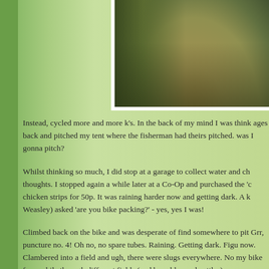[Figure (photo): Outdoor photograph showing a dirt path or trail with grass and vegetation on the left side, taken in overcast/grey conditions. The image is partially visible in the upper right portion of the page.]
Instead, cycled more and more k's. In the back of my mind I was think ages back and pitched my tent where the fisherman had theirs pitched. was I gonna pitch?
Whilst thinking so much, I did stop at a garage to collect water and ch thoughts. I stopped again a while later at a Co-Op and purchased the 'c chicken strips for 50p. It was raining harder now and getting dark. A k Weasley) asked 'are you bike packing?' - yes, yes I was!
Climbed back on the bike and was desperate of find somewhere to pit Grr, puncture no. 4! Oh no, no spare tubes. Raining. Getting dark. Figu now. Clambered into a field and ugh, there were slugs everywhere. No my bike for a while through different fields (and brambles and nettles) more desirable field and pitched tent. My legs were covered in scratch So knackered was I, I couldn't be bothered to cook a meal and prompti